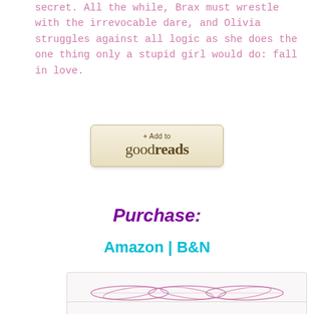secret. All the while, Brax must wrestle with the irrevocable dare, and Olivia struggles against all logic as she does the one thing only a stupid girl would do: fall in love.
[Figure (other): Goodreads '+ Add to goodreads' button with beige/tan gradient background]
Purchase:
Amazon | B&N
[Figure (illustration): Decorative swirl/flourish divider element with intertwined loop designs in purple/pink]
[Figure (other): Partial bottom box element, cut off at page bottom]